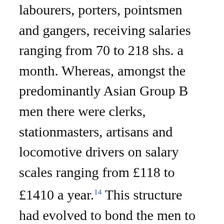labourers, porters, pointsmen and gangers, receiving salaries ranging from 70 to 218 shs. a month. Whereas, amongst the predominantly Asian Group B men there were clerks, stationmasters, artisans and locomotive drivers on salary scales ranging from £118 to £1410 a year.[14] This structure had evolved to bond the men to the company by segmenting and fragmenting the workforce, thus disabling the prospect of unified industrial action.
The Carpenter and Lidbury recommendations placed E.A.R.H. under considerable political pressure, to introduce a pay structure based on occupational groups and the family wage principle to replace the old racially grounded grading system based on the bachelor minimum. To widen its room for manoeuvre, E.A.R.H. envisaged token concessions on the basis of a leaner and much reduced workforce that it was